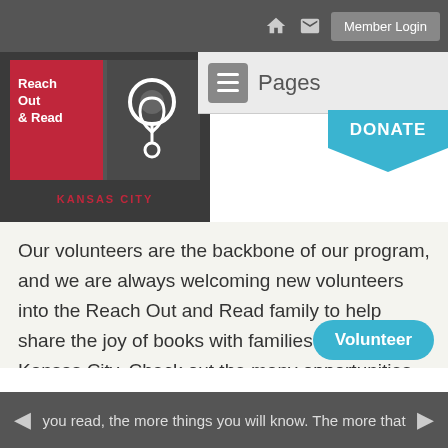Member Login
[Figure (logo): Reach Out & Read Kansas City logo — red and dark grey squares with stethoscope and heart graphic, 'KANSAS CITY' in red below]
Pages / Reach Out and Read Kansas City
Our volunteers are the backbone of our program, and we are always welcoming new volunteers into the Reach Out and Read family to help share the joy of books with families throughout Kansas City. Check out the many opportunities below to find the best way for you to get involved and be the change you want to see while supporting Reach Out and Read Kansas City.
you read, the more things you will know. The more that